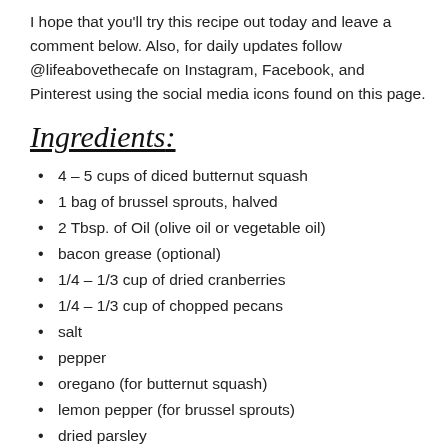I hope that you'll try this recipe out today and leave a comment below. Also, for daily updates follow @lifeabovethecafe on Instagram, Facebook, and Pinterest using the social media icons found on this page.
Ingredients:
4 – 5 cups of diced butternut squash
1 bag of brussel sprouts, halved
2 Tbsp. of Oil (olive oil or vegetable oil)
bacon grease (optional)
1/4 – 1/3 cup of dried cranberries
1/4 – 1/3 cup of chopped pecans
salt
pepper
oregano (for butternut squash)
lemon pepper (for brussel sprouts)
dried parsley